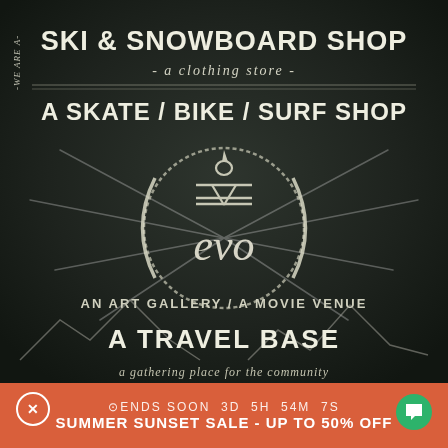[Figure (illustration): Chalkboard-style advertisement for evo store. Dark chalkboard background with white chalk-style lettering. Top reads 'WE ARE A' vertically, then 'SKI & SNOWBOARD SHOP', '- a clothing store -', then 'A SKATE / BIKE / SURF SHOP'. Center has evo logo in a circle with radiating lines. Bottom reads 'AN ART GALLERY / A MOVIE VENUE', 'A TRAVEL BASE', 'a gathering place for the community'. Mountain silhouettes at the bottom of chalkboard. Orange-red banner at very bottom with 'ENDS SOON 3D 5H 54M 7S' and 'SUMMER SUNSET SALE - UP TO 50% OFF'. Close (X) button on bottom left and chat button on bottom right.]
⊙ENDS SOON3D  5H  54M  7S
SUMMER SUNSET SALE - UP TO 50% OFF